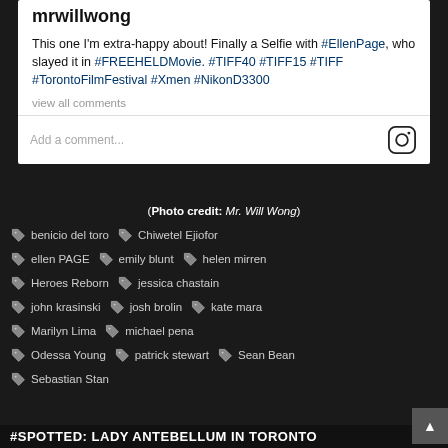mrwillwong
This one I'm extra-happy about! Finally a Selfie with #EllenPage, who slayed it in #FREEHELDMovie. #TIFF40 #TIFF15 #TIFF #TorontoFilmFestival #Xmen #NikonD3300
view all comments
Add a comment...
(Photo credit: Mr. Will Wong)
benicio del toro
Chiwetel Ejiofor
ellen PAGE
emily blunt
helen mirren
Heroes Reborn
jessica chastain
john krasinski
josh brolin
kate mara
Marilyn Lima
michael pena
Odessa Young
patrick stewart
Sean Bean
Sebastian Stan
#SPOTTED: LADY ANTEBELLUM IN TORONTO